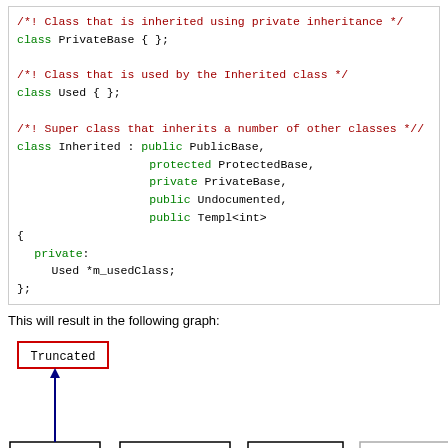[Figure (screenshot): Code block showing C++ class definitions with syntax highlighting: PrivateBase, Used, and Inherited classes with multiple inheritance]
This will result in the following graph:
[Figure (network-graph): Inheritance graph showing Truncated node (red border) at top with blue arrow from PublicBase, and arrows from ProtectedBase (green), PrivateBase (dark red), and Undocumented (blue) converging toward bottom center]